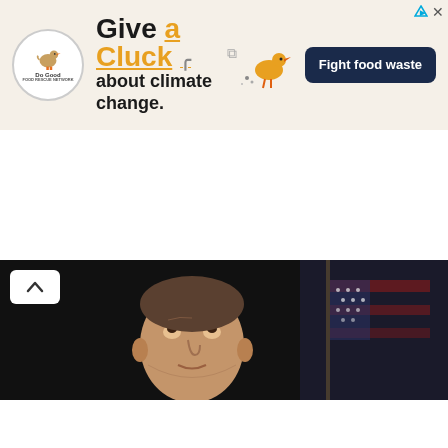[Figure (infographic): Top advertisement banner: 'Give a Cluck about climate change.' with Do Good logo, chicken illustration, and 'Fight food waste' button on beige background]
[Figure (photo): A man in a dark suit with a light blue shirt looking upward, with an American flag visible in the background, against a dark backdrop. A back/up arrow button is visible in the top left corner.]
[Figure (infographic): Bottom advertisement banner for CVS Pharmacy: 'Find A Location Near You' with CVS Pharmacy logo and navigation diamond icon]